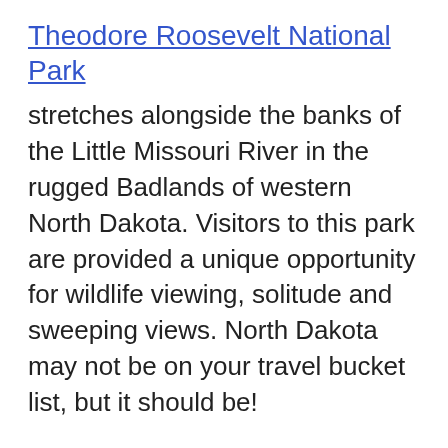Theodore Roosevelt National Park
stretches alongside the banks of the Little Missouri River in the rugged Badlands of western North Dakota. Visitors to this park are provided a unique opportunity for wildlife viewing, solitude and sweeping views. North Dakota may not be on your travel bucket list, but it should be!
Over 700,000 people visit Theodore Roosevelt National Park each year. However, some of the park has...